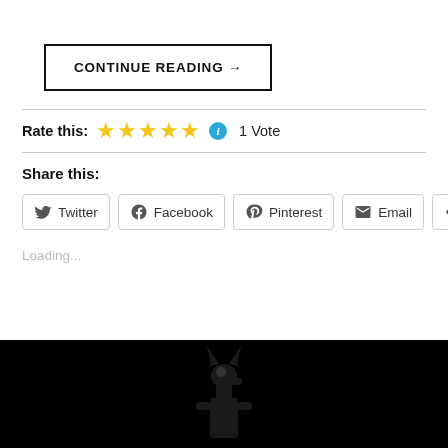CONTINUE READING →
Rate this: ★★★★★ ℹ 1 Vote
Share this:
Twitter | Facebook | Pinterest | Email | More
Loading...
[Figure (photo): Dark background with an Anubis figure silhouette in the center]